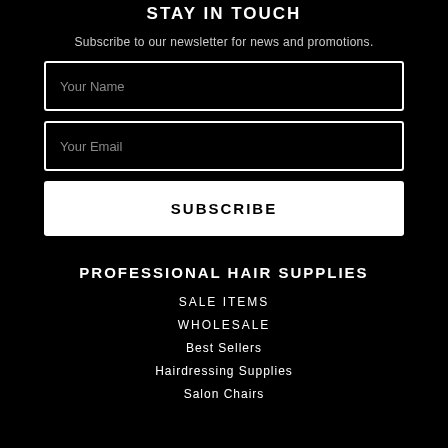STAY IN TOUCH
Subscribe to our newsletter for news and promotions.
[Figure (other): Your Name input field]
[Figure (other): Your Email input field]
[Figure (other): SUBSCRIBE button]
PROFESSIONAL HAIR SUPPLIES
SALE ITEMS
WHOLESALE
Best Sellers
Hairdressing Supplies
Salon Chairs